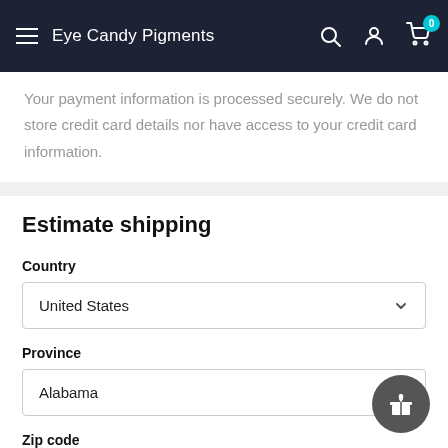Eye Candy Pigments
Your payment information is processed securely. We do not store credit card details nor have access to your credit card information.
Estimate shipping
Country
United States
Province
Alabama
Zip code